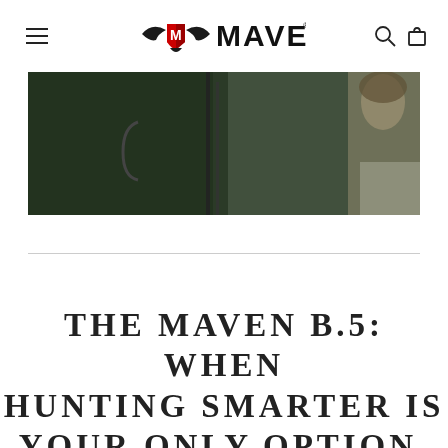MAVEN (logo with navigation menu, search, and cart icons)
[Figure (photo): Partial photo showing outdoor hunting scene with dark background and a person visible on the right side]
THE MAVEN B.5: WHEN HUNTING SMARTER IS YOUR ONLY OPTION.